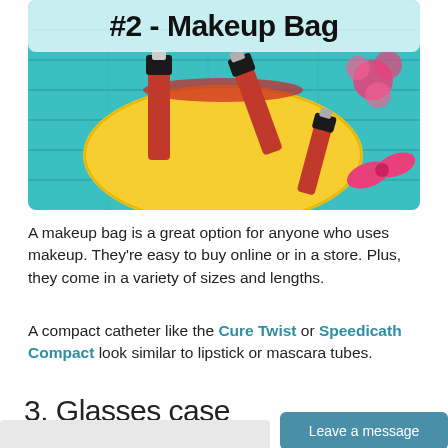[Figure (photo): Photo of a yellow makeup bag with red nail polish bottles scattered on a teal wooden background, with pink flowers. Overlaid title text '#2 - Makeup Bag' in bold black on a light teal/white banner at the top.]
A makeup bag is a great option for anyone who uses makeup. They're easy to buy online or in a store. Plus, they come in a variety of sizes and lengths.
A compact catheter like the Cure Twist or Speedicath Compact look similar to lipstick or mascara tubes.
3. Glasses case